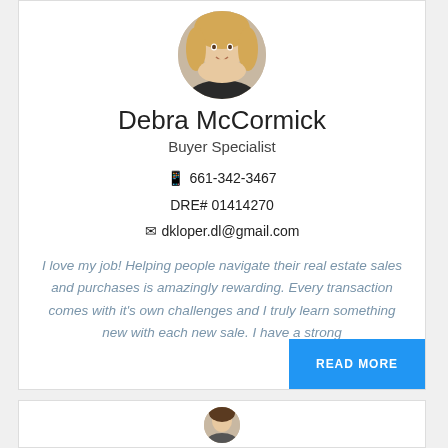[Figure (photo): Circular portrait photo of Debra McCormick, a woman with blonde wavy hair, smiling]
Debra McCormick
Buyer Specialist
📱 661-342-3467
DRE# 01414270
✉ dkloper.dl@gmail.com
I love my job! Helping people navigate their real estate sales and purchases is amazingly rewarding. Every transaction comes with it's own challenges and I truly learn something new with each new sale. I have a strong
READ MORE
[Figure (photo): Partial view of another agent's photo at the bottom of the page]